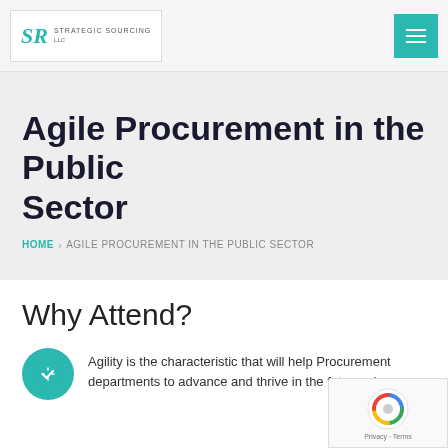Strategic Sourcing — Navigation header with logo and menu button
Agile Procurement in the Public Sector
HOME > AGILE PROCUREMENT IN THE PUBLIC SECTOR
Why Attend?
Agility is the characteristic that will help Procurement departments to advance and thrive in the future where